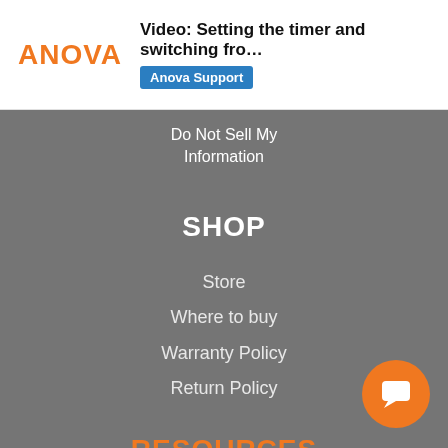Video: Setting the timer and switching fro... | Anova Support
Do Not Sell My Information
SHOP
Store
Where to buy
Warranty Policy
Return Policy
RESOURCES
Recipes
What is Sous Vide